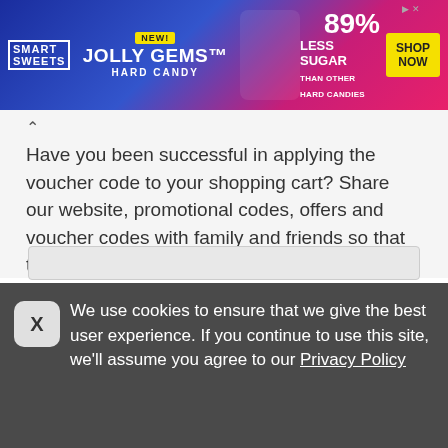[Figure (other): SmartSweets Jolly Gems Hard Candy advertisement banner. Blue and pink gradient background. Text: NEW!, SMART SWEETS, JOLLY GEMS HARD CANDY, 89% LESS SUGAR THAN OTHER HARD CANDIES, SHOP NOW button, yellow badge.]
Have you been successful in applying the voucher code to your shopping cart? Share our website, promotional codes, offers and voucher codes with family and friends so that they can enjoy the savings too.
The entire content of this site is copyrighted (all rights reserved © 2022).
We use cookies to ensure that we give the best user experience. If you continue to use this site, we'll assume you agree to our Privacy Policy